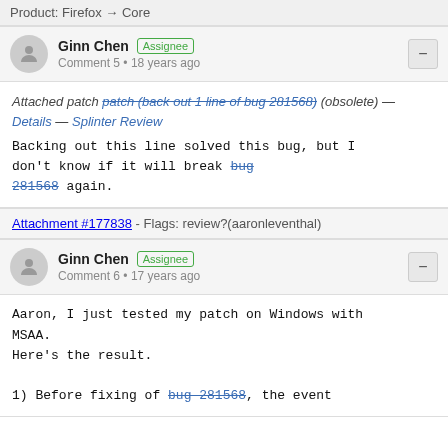Product: Firefox → Core
Ginn Chen  Assignee
Comment 5 • 18 years ago
Attached patch patch (back out 1 line of bug 281568) (obsolete) — Details — Splinter Review
Backing out this line solved this bug, but I don't know if it will break bug 281568 again.
Attachment #177838 - Flags: review?(aaronleventhal)
Ginn Chen  Assignee
Comment 6 • 17 years ago
Aaron, I just tested my patch on Windows with MSAA.
Here's the result.

1) Before fixing of bug 281568, the event